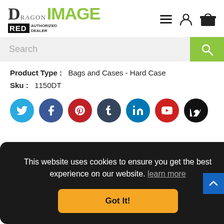[Figure (logo): Dragon Image RED Authorized Dealer logo with green IMAGE text and navigation icons]
[Figure (screenshot): Search bar with green search button]
Product Type :   Bags and Cases - Hard Case
Sku :   1150DT
[Figure (infographic): Social media sharing icons: Twitter, Facebook, Pinterest, Tumblr, LinkedIn, YouTube, Vimeo]
This website uses cookies to ensure you get the best experience on our website. learn more
[Figure (screenshot): Got It! cookie consent button in yellow/amber]